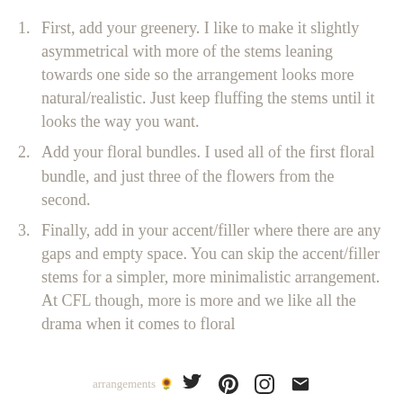1. First, add your greenery. I like to make it slightly asymmetrical with more of the stems leaning towards one side so the arrangement looks more natural/realistic. Just keep fluffing the stems until it looks the way you want.
2. Add your floral bundles. I used all of the first floral bundle, and just three of the flowers from the second.
3. Finally, add in your accent/filler where there are any gaps and empty space. You can skip the accent/filler stems for a simpler, more minimalistic arrangement. At CFL though, more is more and we like all the drama when it comes to floral arrangements
arrangements [social icons: twitter, pinterest, instagram, email]